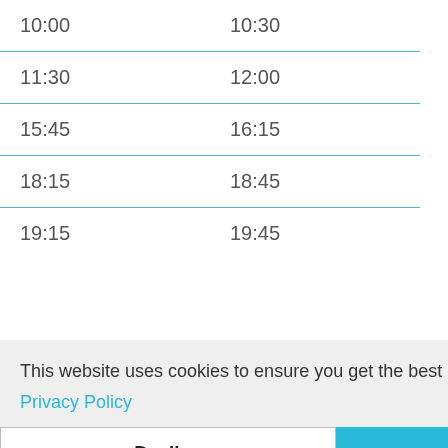| Departure | Arrival |
| --- | --- |
| 10:00 | 10:30 |
| 11:30 | 12:00 |
| 15:45 | 16:15 |
| 18:15 | 18:45 |
| 19:15 | 19:45 |
This website uses cookies to ensure you get the best experience on our website. Cookies Policy Privacy Policy
Decline | Allow cookies
Additional Evening Services
Peter's. if passengers are waiting at the bus Stop.